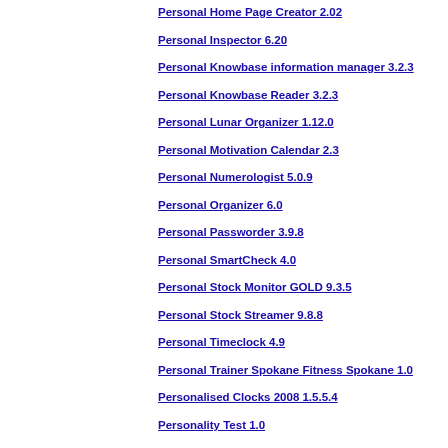Personal Home Page Creator 2.02
Personal Inspector 6.20
Personal Knowbase information manager 3.2.3
Personal Knowbase Reader 3.2.3
Personal Lunar Organizer 1.12.0
Personal Motivation Calendar 2.3
Personal Numerologist 5.0.9
Personal Organizer 6.0
Personal Passworder 3.9.8
Personal SmartCheck 4.0
Personal Stock Monitor GOLD 9.3.5
Personal Stock Streamer 9.8.8
Personal Timeclock 4.9
Personal Trainer Spokane Fitness Spokane 1.0
Personalised Clocks 2008 1.5.5.4
Personality Test 1.0
Personality Voices - MorphVOX Add-on 1.0
Personalized - Gift Reminder Maker 1.0